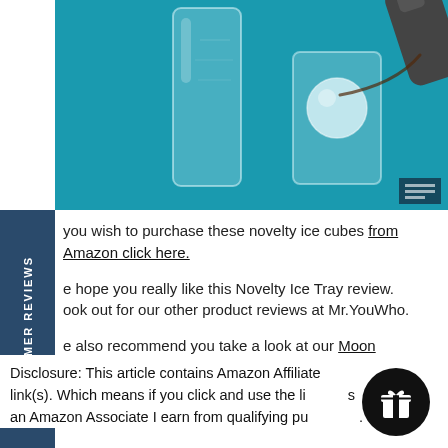[Figure (photo): Photo of two glass cups on a blue background — a tall textured glass on the left and a rocks glass on the right with a large spherical ice ball, with a bottle being poured into the right glass. A small dark watermark box is visible in the lower right of the image.]
you wish to purchase these novelty ice cubes from Amazon click here.
e hope you really like this Novelty Ice Tray review. ook out for our other product reviews at Mr.YouWho.
e also recommend you take a look at our Moon amps by clicking here.
Disclosure: This article contains Amazon Affiliate link(s). Which means if you click and use the links, as an Amazon Associate I earn from qualifying purchases.